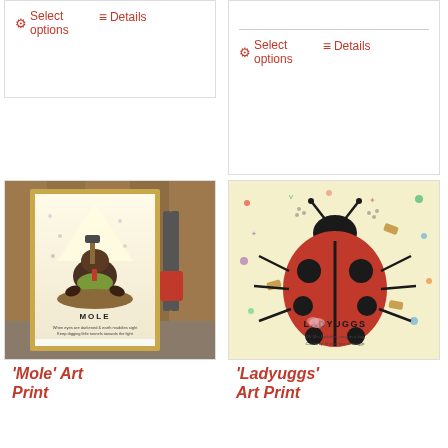[Figure (screenshot): Top-left product card partial: Select options and Details buttons]
[Figure (screenshot): Top-right product card partial: Select options and Details buttons]
[Figure (photo): Mole art print in gold frame, leaning against wooden fence with garden shears, showing illustrated mole character with text MOLE]
'Mole' Art Print
[Figure (illustration): Ladyuggs art print showing a large illustrated ladybird/ladybug with text LADYUGGS and poem: Oh Mrs Ladybird, snug as a bug Curled up in your favourite uggs]
'Ladyuggs' Art Print